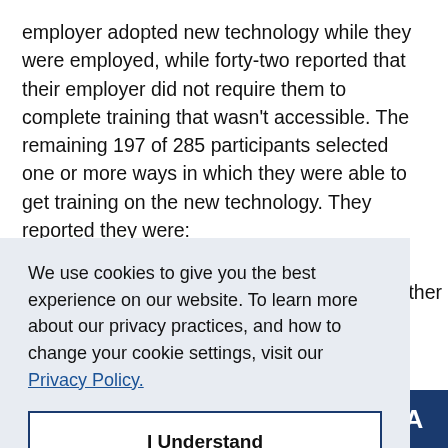employer adopted new technology while they were employed, while forty-two reported that their employer did not require them to complete training that wasn't accessible. The remaining 197 of 285 participants selected one or more ways in which they were able to get training on the new technology. They reported they were:
[Figure (other): Cookie consent banner overlay with text: 'We use cookies to give you the best experience on our website. To learn more about our privacy practices, and how to change your cookie settings, visit our Privacy Policy.' with an 'I Understand' button. Partially obscures the underlying page content.]